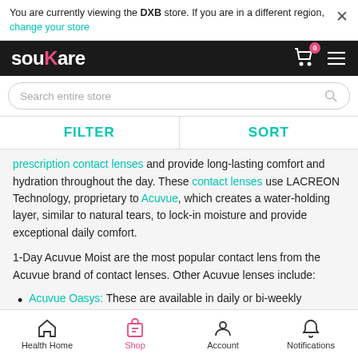You are currently viewing the DXB store. If you are in a different region, change your store
[Figure (screenshot): souKare logo with cart and menu icons on dark header, plus search bar]
FILTER   SORT
prescription contact lenses and provide long-lasting comfort and hydration throughout the day. These contact lenses use LACREON Technology, proprietary to Acuvue, which creates a water-holding layer, similar to natural tears, to lock-in moisture and provide exceptional daily comfort.
1-Day Acuvue Moist are the most popular contact lens from the Acuvue brand of contact lenses. Other Acuvue lenses include:
Acuvue Oasys: These are available in daily or bi-weekly replacements and come with Hydraclear and HydraLuxe technology to retain moisture while reducing fatigue on the eyes.
Health Home   Shop   Account   Notifications